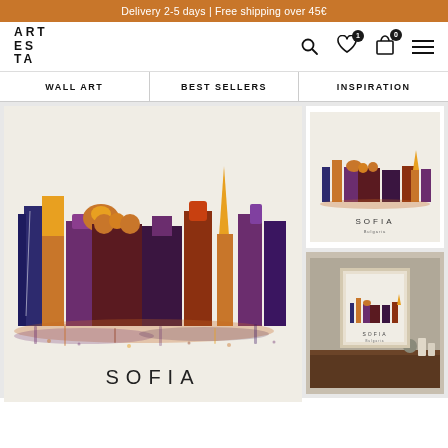Delivery 2-5 days | Free shipping over 45€
[Figure (logo): ARTESTA logo — stacked letters ART / ES / TA in bold sans-serif with wide letter-spacing]
[Figure (screenshot): Navigation icons: search magnifying glass, heart/wishlist icon with dark dot badge, shopping bag with '0' badge, hamburger menu]
WALL ART | BEST SELLERS | INSPIRATION
[Figure (illustration): Main product image: Sofia city skyline watercolor art print on cream/beige background. Colorful skyline silhouette with purples, reds, oranges and yellows depicting Sofia's buildings and landmarks. Text 'SOFIA' at bottom in spaced thin capitals.]
[Figure (photo): Thumbnail 1: Sofia skyline art print shown as standalone poster on white background with 'SOFIA' text at bottom.]
[Figure (photo): Thumbnail 2: Sofia skyline art print shown framed in a beige/cream frame hanging on a wall above a dark wooden desk with decorative objects.]